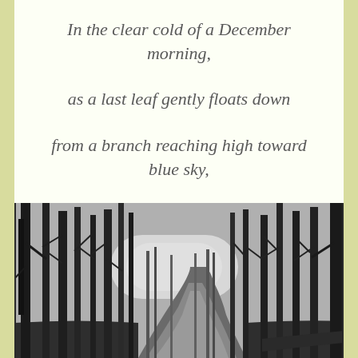In the clear cold of a December morning,

as a last leaf gently floats down

from a branch reaching high toward blue sky,
[Figure (photo): Black and white photograph of a winding forest path surrounded by tall bare trees with no leaves, suggesting a winter or late autumn scene. The path curves away into the distance between dense stands of dark tree trunks.]